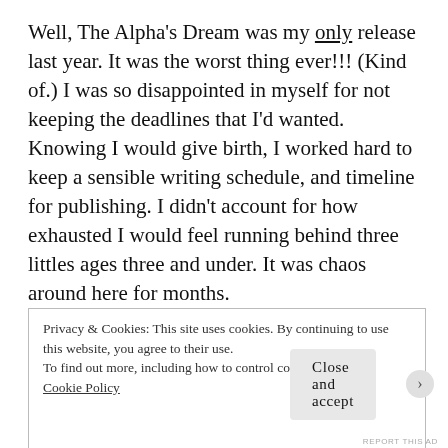Well, The Alpha's Dream was my only release last year. It was the worst thing ever!!! (Kind of.) I was so disappointed in myself for not keeping the deadlines that I'd wanted. Knowing I would give birth, I worked hard to keep a sensible writing schedule, and timeline for publishing. I didn't account for how exhausted I would feel running behind three littles ages three and under. It was chaos around here for months.
When I finally came up to breathe, I had no idea how to talk about anything except the diapers I was
Privacy & Cookies: This site uses cookies. By continuing to use this website, you agree to their use.
To find out more, including how to control cookies, see here: Cookie Policy
Close and accept